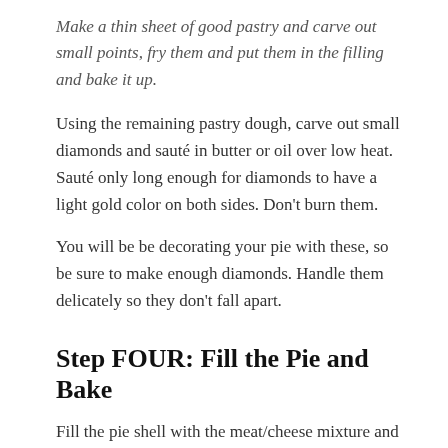Make a thin sheet of good pastry and carve out small points, fry them and put them in the filling and bake it up.
Using the remaining pastry dough, carve out small diamonds and sauté in butter or oil over low heat. Sauté only long enough for diamonds to have a light gold color on both sides. Don't burn them.
You will be be decorating your pie with these, so be sure to make enough diamonds. Handle them delicately so they don't fall apart.
Step FOUR: Fill the Pie and Bake
Fill the pie shell with the meat/cheese mixture and add the pastry points (see the note below). Cook at 350